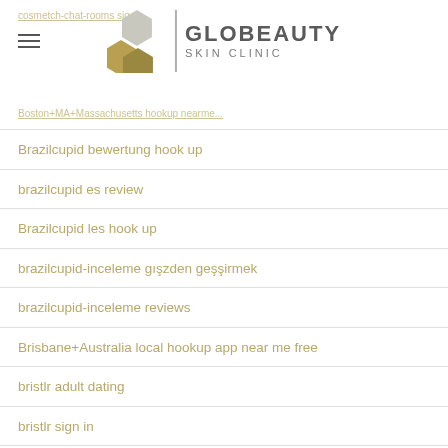Globeauty Skin Clinic
Brazilcupid bewertung hook up
brazilcupid es review
Brazilcupid les hook up
brazilcupid-inceleme gözden geçirmek
brazilcupid-inceleme reviews
Brisbane+Australia local hookup app near me free
bristlr adult dating
bristlr sign in
Bristol+United Kingdom best hookup apps
Bristol+United Kingdom hookup apps